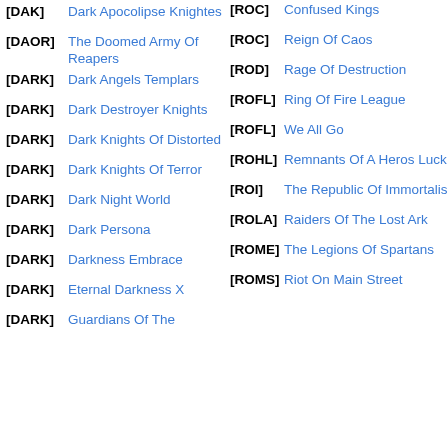[DAK] Dark Apocolipse Knightes
[DAOR] The Doomed Army Of Reapers
[DARK] Dark Angels Templars
[DARK] Dark Destroyer Knights
[DARK] Dark Knights Of Distorted
[DARK] Dark Knights Of Terror
[DARK] Dark Night World
[DARK] Dark Persona
[DARK] Darkness Embrace
[DARK] Eternal Darkness X
[DARK] Guardians Of The
[ROC] Confused Kings
[ROC] Reign Of Caos
[ROD] Rage Of Destruction
[ROFL] Ring Of Fire League
[ROFL] We All Go
[ROHL] Remnants Of A Heros Luck
[ROI] The Republic Of Immortalis
[ROLA] Raiders Of The Lost Ark
[ROME] The Legions Of Spartans
[ROMS] Riot On Main Street